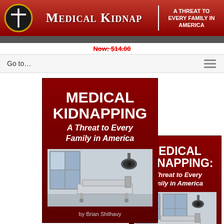[Figure (logo): Medical Kidnap website header banner with logo, title 'Medical Kidnap', tagline 'A Threat to Every Family in America']
Now: $14.00
Go to...
[Figure (illustration): Two overlapping book covers for 'Medical Kidnapping: A Threat to Every Family in America' by Brian Shilhavy. Dark red covers with white bold text and hospital room with security camera imagery.]